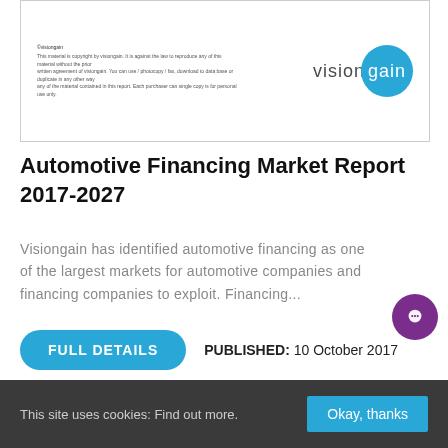[Figure (screenshot): Visiongain report cover preview showing copyright notice on the left and the visiongain logo (teal circle with white 'gain' text) on the right]
Automotive Financing Market Report 2017-2027
Visiongain has identified automotive financing as one of the largest markets for automotive companies and financing companies to exploit. Financing...
PUBLISHED: 10 October 2017
This site uses cookies: Find out more.